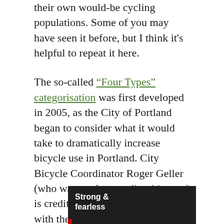their own would-be cycling populations. Some of you may have seen it before, but I think it's helpful to repeat it here.
The so-called "Four Types" categorisation was first developed in 2005, as the City of Portland began to consider what it would take to dramatically increase bicycle use in Portland. City Bicycle Coordinator Roger Geller (who was out here earlier this year) is credited with having come up with the concept and putting up some numbers that seemed about right (and generally haven't been contested much since). So here's how it looks:
[Figure (infographic): Dark/black background box showing beginning of a categorization chart. Text reads 'Strong & fearless' in bold white, with a small red bar at the bottom left.]